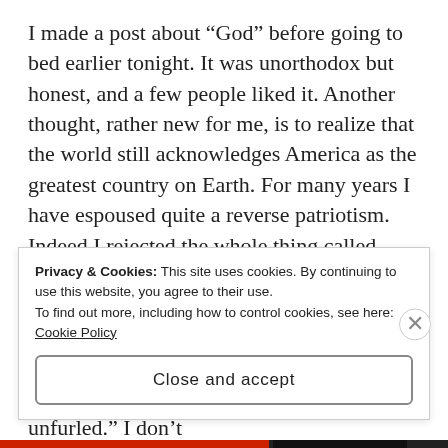I made a post about “God” before going to bed earlier tonight. It was unorthodox but honest, and a few people liked it. Another thought, rather new for me, is to realize that the world still acknowledges America as the greatest country on Earth. For many years I have espoused quite a reverse patriotism. Indeed I rejected the whole thing called nationalism and refused to watch the Olympics and such that fosters pride in your country. Neil Peart: “Better the pride that resides in a citizen of the world / Than the pride that divides when a colorful rag is unfurled.” I don’t
Privacy & Cookies: This site uses cookies. By continuing to use this website, you agree to their use.
To find out more, including how to control cookies, see here: Cookie Policy
Close and accept